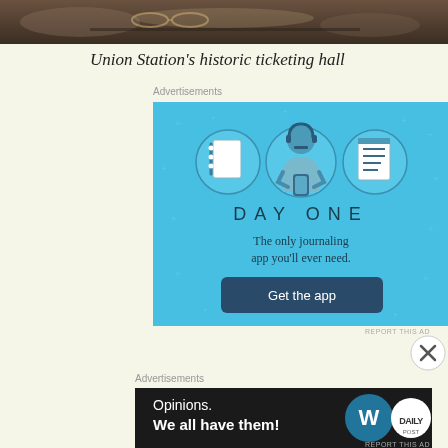[Figure (photo): Top portion of a photo showing Union Station's historic ticketing hall interior, dark warm tones]
Union Station’s historic ticketing hall
Advertisements
[Figure (illustration): Day One journaling app advertisement on blue background. Shows three circular icons: a notebook, a person wearing headphones holding a phone, and a checklist. Text reads DAY ONE, The only journaling app you’ll ever need. Button: Get the app]
Advertisements
[Figure (illustration): WordPress advertisement on dark background. Text: Opinions. We all have them! with WordPress logo and another circular logo on the right.]